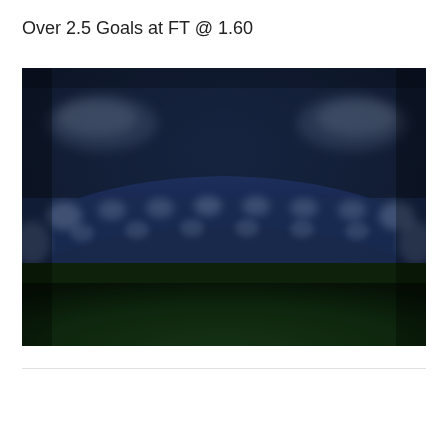Over 2.5 Goals at FT @ 1.60
[Figure (photo): Blurred night football/soccer stadium with green pitch in foreground and illuminated stands with floodlights in background against dark blue sky]